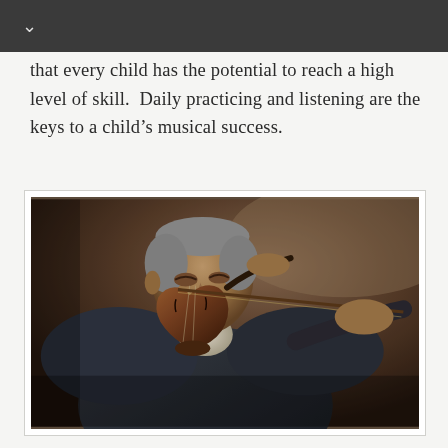that every child has the potential to reach a high level of skill.  Daily practicing and listening are the keys to a child’s musical success.
[Figure (photo): An elderly man in a dark suit playing the violin, photographed in a dramatic black-and-white style against a dark background. The man is focused on playing, holding the bow with his right hand and the violin under his chin.]